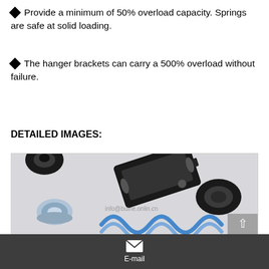Provide a minimum of 50% overload capacity. Springs are safe at solid loading.
The hanger brackets can carry a 500% overload without failure.
DETAILED IMAGES:
[Figure (photo): Detailed photo showing spring hanger components: a rectangular black metal bracket (hanger bracket), two black rubber grommets/bushings, a silver metal spring seat/cup, and a blue coil spring.]
E-mail